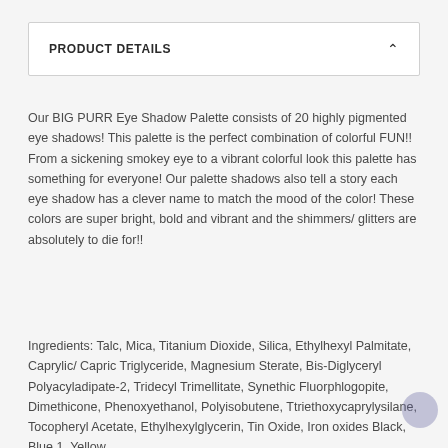PRODUCT DETAILS
Our BIG PURR Eye Shadow Palette consists of 20 highly pigmented eye shadows! This palette is the perfect combination of colorful FUN!! From a sickening smokey eye to a vibrant colorful look this palette has something for everyone! Our palette shadows also tell a story each eye shadow has a clever name to match the mood of the color! These colors are super bright, bold and vibrant and the shimmers/ glitters are absolutely to die for!!
Ingredients: Talc, Mica, Titanium Dioxide, Silica, Ethylhexyl Palmitate, Caprylic/ Capric Triglyceride, Magnesium Sterate, Bis-Diglyceryl Polyacyladipate-2, Tridecyl Trimellitate, Synethic Fluorphlogopite, Dimethicone, Phenoxyethanol, Polyisobutene, Ttriethoxycaprylysilane, Tocopheryl Acetate, Ethylhexylglycerin, Tin Oxide, Iron oxides Black, Blue 1, Yellow